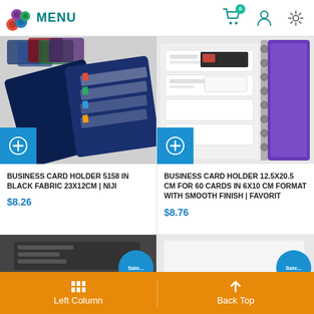MENU
[Figure (photo): Business card holder 5158 in black fabric 23x12cm by Niji, shown open with cards]
BUSINESS CARD HOLDER 5158 IN BLACK FABRIC 23X12CM | NIJI
$8.26
[Figure (photo): Business card holder 12.5x20.5 cm for 60 cards in 6x10 cm format with smooth finish by Favorit, shown in purple]
BUSINESS CARD HOLDER 12.5X20.5 CM FOR 60 CARDS IN 6X10 CM FORMAT WITH SMOOTH FINISH | FAVORIT
$8.76
Left Column   Back Top